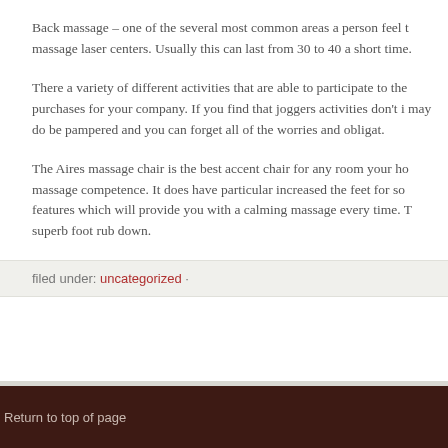Back massage – one of the several most common areas a person feel t massage laser centers. Usually this can last from 30 to 40 a short time.
There a variety of different activities that are able to participate to the purchases for your company. If you find that joggers activities don't i may do be pampered and you can forget all of the worries and obligat.
The Aires massage chair is the best accent chair for any room your ho massage competence. It does have particular increased the feet for so features which will provide you with a calming massage every time. T superb foot rub down.
filed under: uncategorized ·
Return to top of page